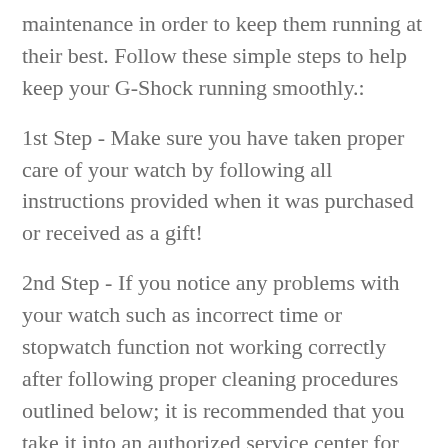maintenance in order to keep them running at their best. Follow these simple steps to help keep your G-Shock running smoothly.:
1st Step - Make sure you have taken proper care of your watch by following all instructions provided when it was purchased or received as a gift!
2nd Step - If you notice any problems with your watch such as incorrect time or stopwatch function not working correctly after following proper cleaning procedures outlined below; it is recommended that you take it into an authorized service center for